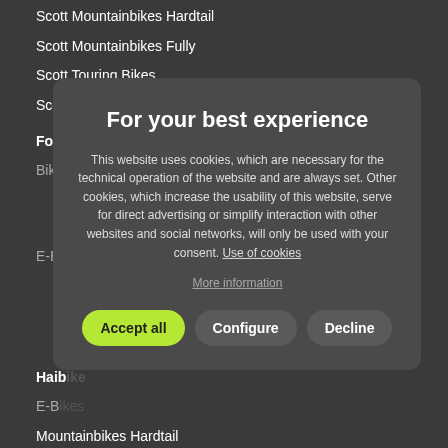Scott Mountainbikes Hardtail
Scott Mountainbikes Fully
Scott Touring Bikes
Scott Cross- and Fitnessbikes
Focus
Bikes
Focus Mountainbikes Hardtail
Focus Mountainbikes Fully
E-Bikes
Focus Mountainbikes Hardtail
Focus Mountainbikes Fully
Focus Touring Bikes
Haibike
E-Bikes
Mountainbikes Hardtail
Mountainbikes Fully
Touring Bikes
Cross- and Fitnessbikes
[Figure (screenshot): Cookie consent modal dialog with title 'For your best experience', body text about cookies, a 'More information' link, and three buttons: 'Accept all', 'Configure', 'Decline']